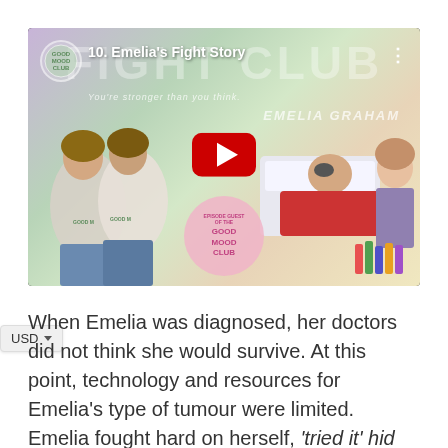[Figure (screenshot): YouTube video thumbnail for episode '10. Emelia's Fight Story' from Good Mood Club. Shows two women in hoodies on the left, a child lying in a hospital bed with an eye patch in the center-right, and an older woman standing on the far right. The thumbnail has a pastel gradient background with the text 'FIGHT CLUB', 'You're stronger than you think.', and 'EMELIA GRAHAM'. A red YouTube play button is centered on the thumbnail.]
When Emelia was diagnosed, her doctors did not think she would survive. At this point, technology and resources for Emelia's type of tumour were limited. Emelia fought hard on herself, 'tried it' hid the